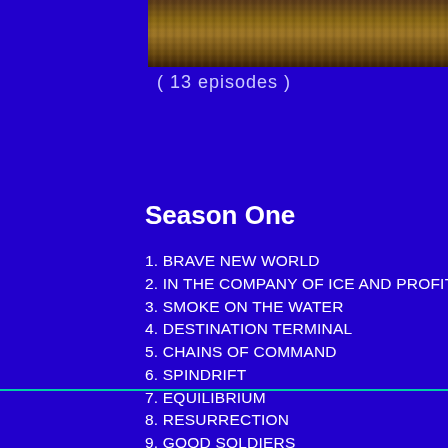[Figure (photo): Partial photo at top of page showing a textured surface (fur or similar), cropped at bottom of image area]
( 13 episodes )
Season One
1. BRAVE NEW WORLD
2. IN THE COMPANY OF ICE AND PROFIT
3. SMOKE ON THE WATER
4. DESTINATION TERMINAL
5. CHAINS OF COMMAND
6. SPINDRIFT
7. EQUILIBRIUM
8. RESURRECTION
9. GOOD SOLDIERS
10. SECOND CHANCE
11. BRAINLOCK
12. REUNION
13. WEAPONS OF WAR